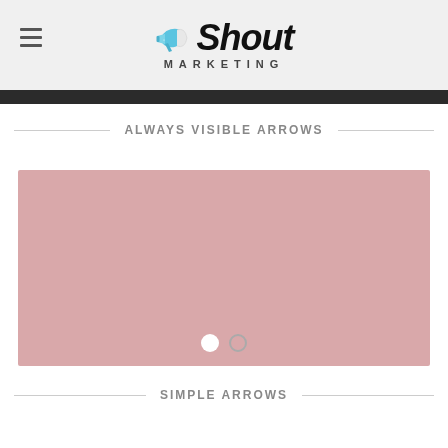Shout Marketing
ALWAYS VISIBLE ARROWS
[Figure (screenshot): Pink/mauve colored slider/carousel placeholder with two navigation dots at the bottom — one filled white, one outlined]
SIMPLE ARROWS